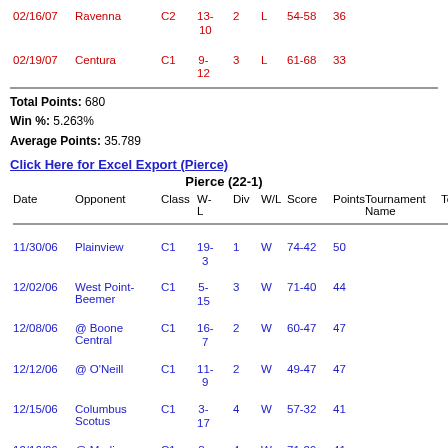| Date | Opponent | Class | W-L | Div | W/L | Score | Points | Tournament Name | Tourna |
| --- | --- | --- | --- | --- | --- | --- | --- | --- | --- |
| 02/16/07 | Ravenna | C2 | 13-10 | 2 | L | 54-58 | 36 |  |  |
| 02/19/07 | Centura | C1 | 9-12 | 3 | L | 61-68 | 33 |  |  |
Total Points: 680
Win %: 5.263%
Average Points: 35.789
Click Here for Excel Export (Pierce)
Pierce (22-1)
| Date | Opponent | Class | W-L | Div | W/L | Score | Points | Tournament Name | Tourna |
| --- | --- | --- | --- | --- | --- | --- | --- | --- | --- |
| 11/30/06 | Plainview | C1 | 19-3 | 1 | W | 74-42 | 50 |  |  |
| 12/02/06 | West Point-Beemer | C1 | 5-15 | 3 | W | 71-40 | 44 |  |  |
| 12/08/06 | @ Boone Central | C1 | 16-7 | 2 | W | 60-47 | 47 |  |  |
| 12/12/06 | @ O'Neill | C1 | 11-9 | 2 | W | 49-47 | 47 |  |  |
| 12/15/06 | Columbus Scotus | C1 | 3-17 | 4 | W | 57-32 | 41 |  |  |
| 12/16/06 | @ Madison | C1 | 3-17 | 4 | W | 71-29 | 41 |  |  |
| 12/28-12/29 | Opponents: |  |  | - | - |  | - | Wisner-Pilger Tournament | Wisner |